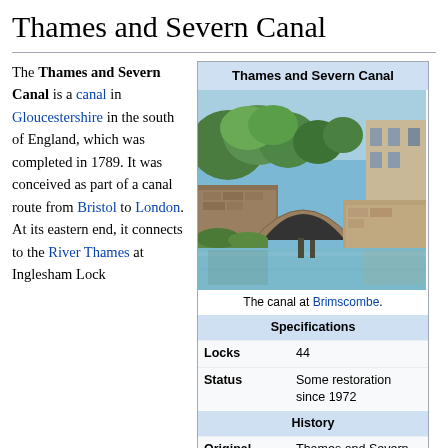Thames and Severn Canal
The Thames and Severn Canal is a canal in Gloucestershire in the south of England, which was completed in 1789. It was conceived as part of a canal route from Bristol to London. At its eastern end, it connects to the River Thames at Inglesham Lock
[Figure (photo): The canal at Brimscombe - showing a stone arched bridge over a calm canal waterway with trees and buildings in background]
The canal at Brimscombe.
| Specifications |  |
| --- | --- |
| Locks | 44 |
| Status | Some restoration since 1972 |
| History |  |
| --- | --- |
| Original | Thames and Severn Canal |